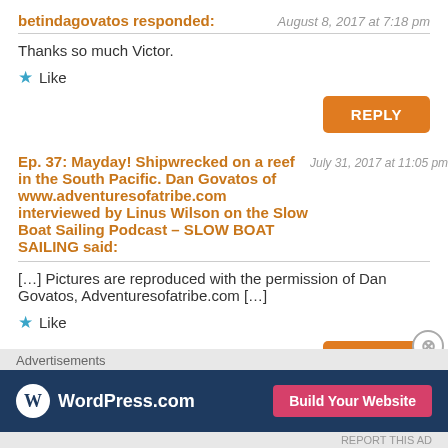betindagovatos responded:
August 8, 2017 at 7:18 pm
Thanks so much Victor.
★ Like
REPLY
Ep. 37: Mayday! Shipwrecked on a reef in the South Pacific. Dan Govatos of www.adventuresofatribe.com interviewed by Linus Wilson on the Slow Boat Sailing Podcast – SLOW BOAT SAILING said:
July 31, 2017 at 11:05 pm
[…] Pictures are reproduced with the permission of Dan Govatos, Adventuresofatribe.com […]
★ Like
REPLY
Bob Mackie said:
August 3, 2017 at 6:34 am
Could you post the coordinates of the reef on No ansite or
Advertisements
[Figure (screenshot): WordPress.com advertisement banner with 'Build Your Website' button]